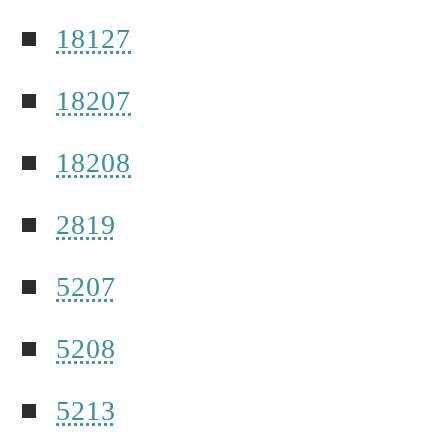18127
18207
18208
2819
5207
5208
5213
5232
5248
5249
5250
5251
5252
5287
5288
5314